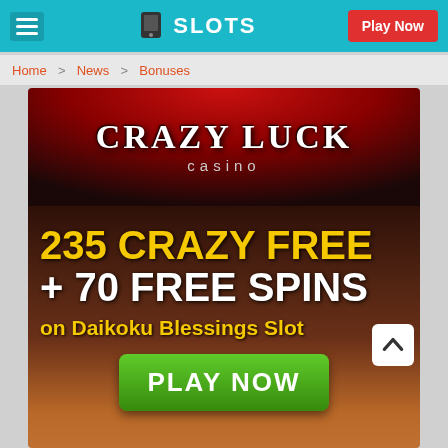FREE MOBILE SLOTS — Play Now
Home > News > Bonuses
[Figure (photo): Crazy Luck Casino promotional banner showing '235 CRAZY FREE + 70 FREE SPINS on Daikoku Blessings Slot' with a green PLAY NOW button, dark reddish-brown gradient background, and the Crazy Luck Casino logo at top.]